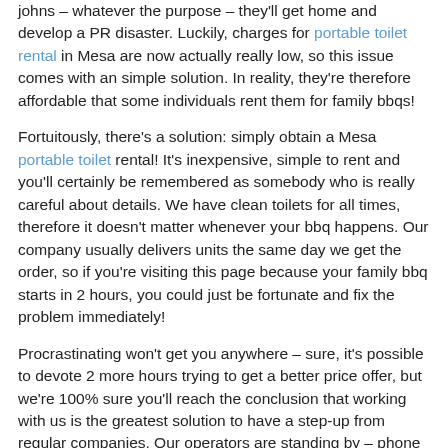johns – whatever the purpose – they'll get home and develop a PR disaster. Luckily, charges for portable toilet rental in Mesa are now actually really low, so this issue comes with an simple solution. In reality, they're therefore affordable that some individuals rent them for family bbqs!
Fortuitously, there's a solution: simply obtain a Mesa portable toilet rental! It's inexpensive, simple to rent and you'll certainly be remembered as somebody who is really careful about details. We have clean toilets for all times, therefore it doesn't matter whenever your bbq happens. Our company usually delivers units the same day we get the order, so if you're visiting this page because your family bbq starts in 2 hours, you could just be fortunate and fix the problem immediately!
Procrastinating won't get you anywhere – sure, it's possible to devote 2 more hours trying to get a better price offer, but we're 100% sure you'll reach the conclusion that working with us is the greatest solution to have a step-up from regular companies. Our operators are standing by – phone today and get quality Mesa porta potty rentals!